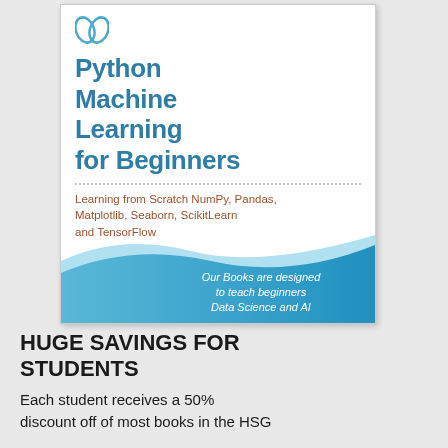[Figure (illustration): Book cover for 'Python Machine Learning for Beginners' with blue title text, dotted divider, subtitle about NumPy, Pandas, Matplotlib, Seaborn, ScikitLearn and TensorFlow, and a blue wave graphic at the bottom with text about teaching beginners Data Science and AI]
HUGE SAVINGS FOR STUDENTS
Each student receives a 50% discount off of most books in the HSG